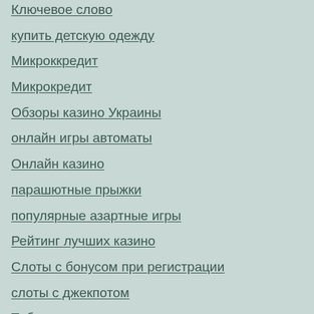Ключевое слово
купить детскую одежду
Микроккредит
Микрокредит
Обзоры казино Украины
онлайн игры автоматы
Онлайн казино
парашютные прыжки
популярные азартные игры
Рейтинг лучших казино
Слоты с бонусом при регистрации
слоты с джекпотом
Табак для кальяна
Финансы